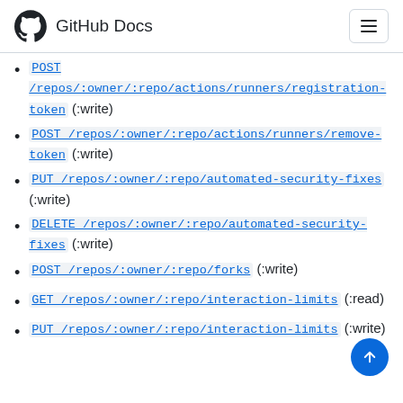GitHub Docs
POST /repos/:owner/:repo/actions/runners/registration-token (:write)
POST /repos/:owner/:repo/actions/runners/remove-token (:write)
PUT /repos/:owner/:repo/automated-security-fixes (:write)
DELETE /repos/:owner/:repo/automated-security-fixes (:write)
POST /repos/:owner/:repo/forks (:write)
GET /repos/:owner/:repo/interaction-limits (:read)
PUT /repos/:owner/:repo/interaction-limits (:write)